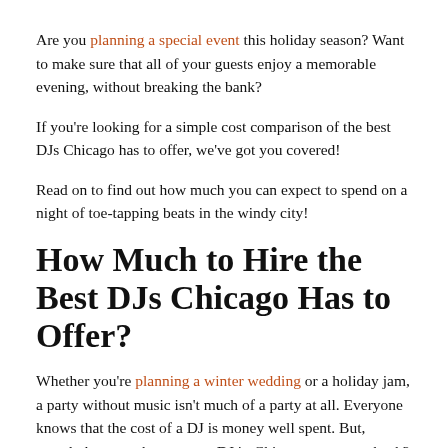Are you planning a special event this holiday season? Want to make sure that all of your guests enjoy a memorable evening, without breaking the bank?
If you're looking for a simple cost comparison of the best DJs Chicago has to offer, we've got you covered!
Read on to find out how much you can expect to spend on a night of toe-tapping beats in the windy city!
How Much to Hire the Best DJs Chicago Has to Offer?
Whether you're planning a winter wedding or a holiday jam, a party without music isn't much of a party at all. Everyone knows that the cost of a DJ is money well spent. But, exactly how much can you a DJ in Chicago to set you back?